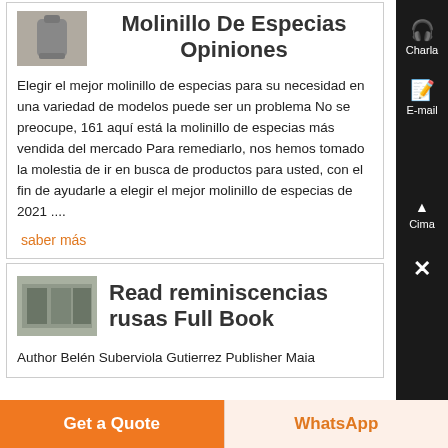Molinillo De Especias Opiniones
Elegir el mejor molinillo de especias para su necesidad en una variedad de modelos puede ser un problema No se preocupe, 161 aquí está la molinillo de especias más vendida del mercado Para remediarlo, nos hemos tomado la molestia de ir en busca de productos para usted, con el fin de ayudarle a elegir el mejor molinillo de especias de 2021 ....
saber más
[Figure (screenshot): Thumbnail image of a spice grinder product]
Read reminiscencias rusas Full Book
Author Belén Suberviola Gutierrez Publisher Maia
[Figure (screenshot): Thumbnail image of a book or machinery]
Get a Quote
WhatsApp